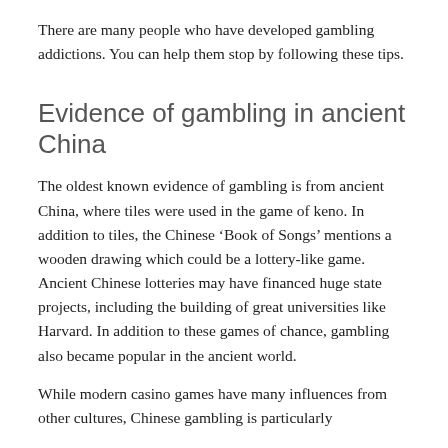There are many people who have developed gambling addictions. You can help them stop by following these tips.
Evidence of gambling in ancient China
The oldest known evidence of gambling is from ancient China, where tiles were used in the game of keno. In addition to tiles, the Chinese ‘Book of Songs’ mentions a wooden drawing which could be a lottery-like game. Ancient Chinese lotteries may have financed huge state projects, including the building of great universities like Harvard. In addition to these games of chance, gambling also became popular in the ancient world.
While modern casino games have many influences from other cultures, Chinese gambling is particularly